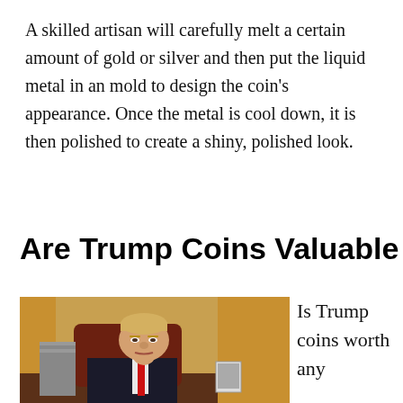A skilled artisan will carefully melt a certain amount of gold or silver and then put the liquid metal in an mold to design the coin's appearance. Once the metal is cool down, it is then polished to create a shiny, polished look.
Are Trump Coins Valuable
[Figure (photo): Photo of Donald Trump seated at a desk in the Oval Office, wearing a dark suit and red tie, with gold curtains visible in the background.]
Is Trump coins worth any